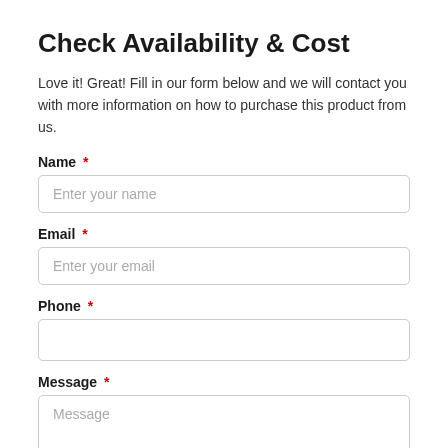Check Availability & Cost
Love it! Great! Fill in our form below and we will contact you with more information on how to purchase this product from us.
Name *
Enter your name
Email *
Enter your email
Phone *
Message *
Message